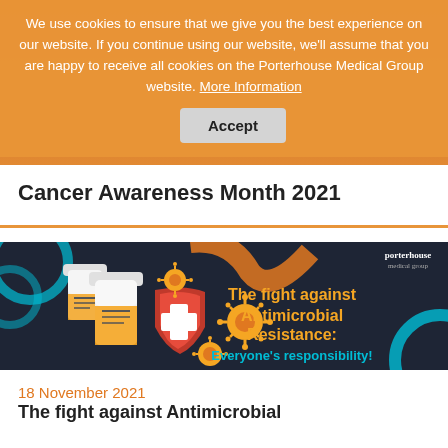We use cookies to ensure that we give you the best experience on our website. If you continue using our website, we'll assume that you are happy to receive all cookies on the Porterhouse Medical Group website. More Information   Accept
Cancer Awareness Month 2021
[Figure (illustration): Dark-background illustration showing orange pill bottles, a red shield with a white cross, orange coronavirus/bacteria icons, and text reading 'The fight against Antimicrobial Resistance: Everyone's responsibility!' in orange and teal. Porterhouse Medical Group logo in top right corner.]
18 November 2021
The fight against Antimicrobial